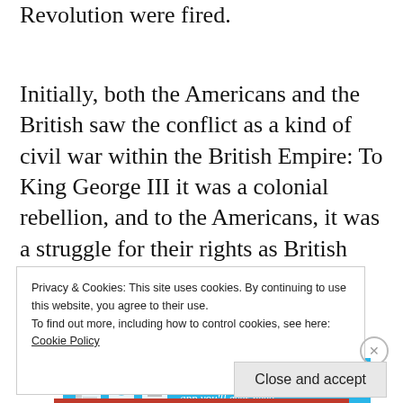Revolution were fired.
Initially, both the Americans and the British saw the conflict as a kind of civil war within the British Empire: To King George III it was a colonial rebellion, and to the Americans, it was a struggle for their rights as British citizens.
[Figure (other): Advertisements banner for DAY ONE journaling app with blue background and app icons]
Privacy & Cookies: This site uses cookies. By continuing to use this website, you agree to their use.
To find out more, including how to control cookies, see here: Cookie Policy